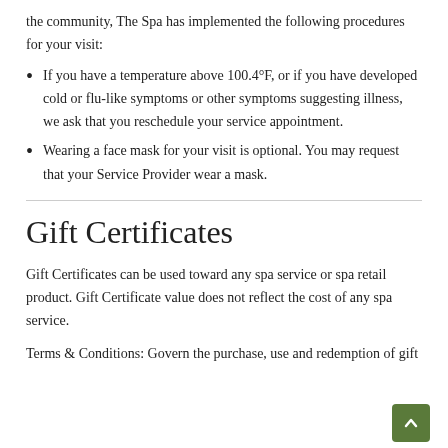the community, The Spa has implemented the following procedures for your visit:
If you have a temperature above 100.4°F, or if you have developed cold or flu-like symptoms or other symptoms suggesting illness, we ask that you reschedule your service appointment.
Wearing a face mask for your visit is optional. You may request that your Service Provider wear a mask.
Gift Certificates
Gift Certificates can be used toward any spa service or spa retail product. Gift Certificate value does not reflect the cost of any spa service.
Terms & Conditions: Govern the purchase, use and redemption of gift